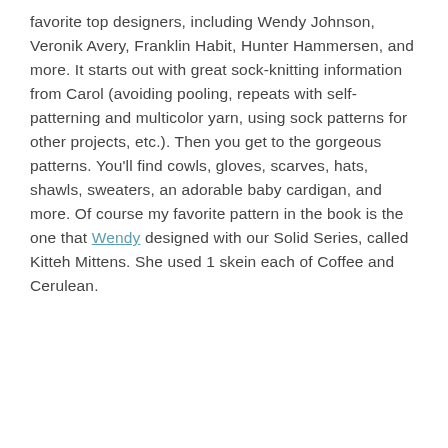favorite top designers, including Wendy Johnson, Veronik Avery, Franklin Habit, Hunter Hammersen, and more. It starts out with great sock-knitting information from Carol (avoiding pooling, repeats with self-patterning and multicolor yarn, using sock patterns for other projects, etc.). Then you get to the gorgeous patterns. You'll find cowls, gloves, scarves, hats, shawls, sweaters, an adorable baby cardigan, and more. Of course my favorite pattern in the book is the one that Wendy designed with our Solid Series, called Kitteh Mittens. She used 1 skein each of Coffee and Cerulean.